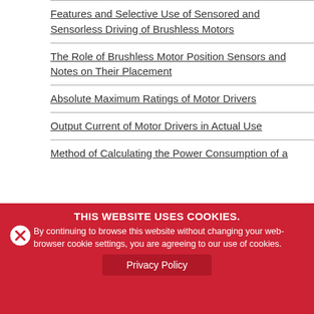Features and Selective Use of Sensored and Sensorless Driving of Brushless Motors
The Role of Brushless Motor Position Sensors and Notes on Their Placement
Absolute Maximum Ratings of Motor Drivers
Output Current of Motor Drivers in Actual Use
Method of Calculating the Power Consumption of a
THIS WEBSITE USES COOKIES. By continuing to browse this website without changing your web-browser cookie settings, you are agreeing to our use of cookies.
Privacy Policy